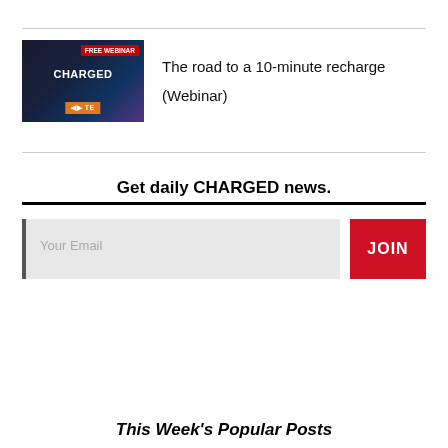[Figure (photo): Promotional ad image for Charged Electric Vehicles Magazine webinar titled 'The road to a 10-minute recharge', featuring a hand holding an EV charging connector with sparks, with 'Free Webinar' tag in red, CHARGED logo, and TE Connectivity logo in orange.]
The road to a 10-minute recharge (Webinar)
Get daily CHARGED news.
Your Email
JOIN
This Week's Popular Posts